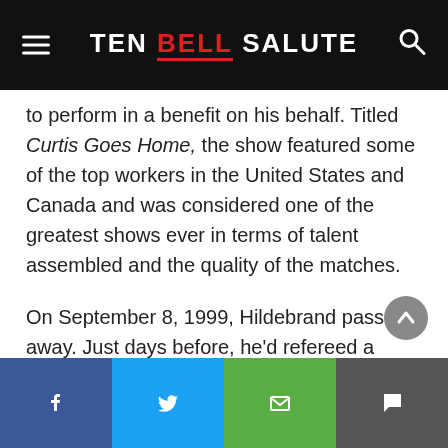TEN BELL SALUTE
to perform in a benefit on his behalf. Titled Curtis Goes Home, the show featured some of the top workers in the United States and Canada and was considered one of the greatest shows ever in terms of talent assembled and the quality of the matches.
On September 8, 1999, Hildebrand passed away. Just days before, he'd refereed a match, a testament to his